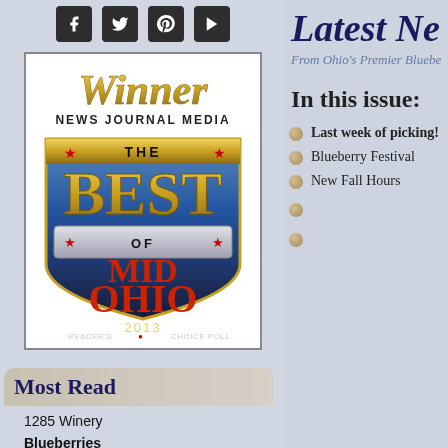[Figure (other): Social media icons: Facebook, Twitter, Pinterest, YouTube in dark square buttons]
[Figure (photo): Winner badge: News Journal Media - The Best of Mid Ohio 2013 Reader's Choice Poll]
Most Read
1285 Winery
Blueberries
Blueberry Plants
Blossoms Cafe
Latest Ne
From Ohio's Premier Bluebe
In this issue:
Last week of picking!
Blueberry Festival
New Fall Hours